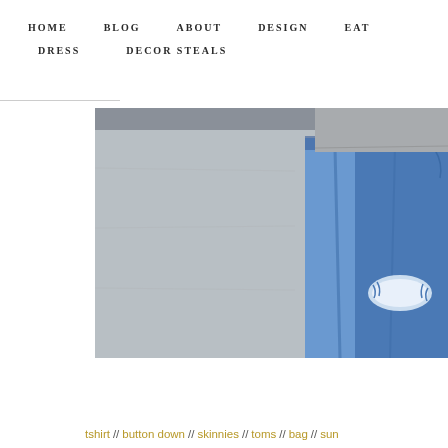HOME   BLOG   ABOUT   DESIGN   EAT   DRESS   DECOR STEALS
[Figure (photo): Close-up photograph of a person wearing distressed blue skinny jeans with a rip at the knee and a gray t-shirt tucked in, standing against a concrete/sidewalk background.]
tshirt // button down // skinnies // toms // bag // sun